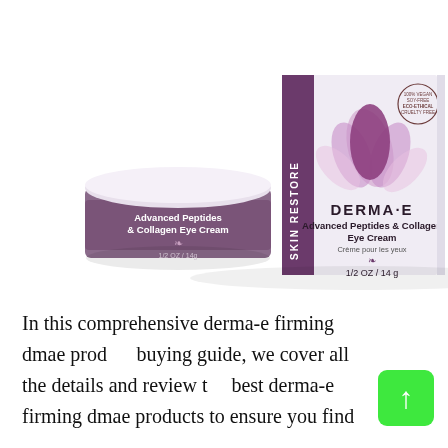[Figure (photo): Product photo of DERMA-E Advanced Peptides & Collagen Eye Cream 1/2 OZ / 14g. Shows a small purple/mauve jar of cream on the left and the product box on the right. The box features a lotus flower graphic, a purple 'SKIN RESTORE' band, and certifications including ECO-ETHICAL, CRUELTY FREE, and other claims. The box side panel (right) shows Ethics section with product claims.]
In this comprehensive derma-e firming dmae product buying guide, we cover all the details and review the best derma-e firming dmae products to ensure you find